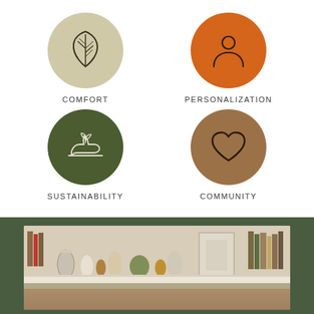[Figure (infographic): Four circular icons in a 2x2 grid representing brand values: Comfort (beige circle with leaf icon), Personalization (orange circle with person icon), Sustainability (dark green circle with hand and plant icon), Community (brown circle with heart icon)]
COMFORT
PERSONALIZATION
SUSTAINABILITY
COMMUNITY
[Figure (photo): A shelf with decorative objects including vases, bowls, books, and various ceramic pieces arranged on a white shelf against a white beadboard background, with a dark olive green frame/border around the image.]